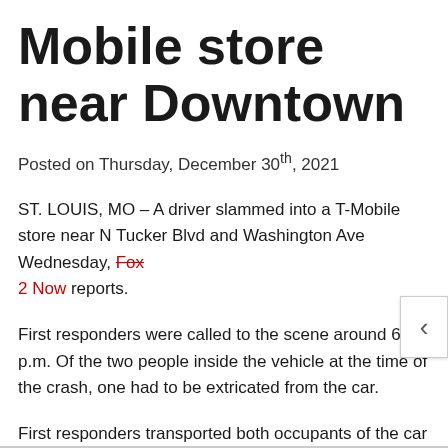Mobile store near Downtown
Posted on Thursday, December 30th, 2021
ST. LOUIS, MO – A driver slammed into a T-Mobile store near N Tucker Blvd and Washington Ave Wednesday, Fox 2 Now reports.
First responders were called to the scene around 6:30 p.m. Of the two people inside the vehicle at the time of the crash, one had to be extricated from the car.
First responders transported both occupants of the car to an area hospital. One occupant was in critical condition.